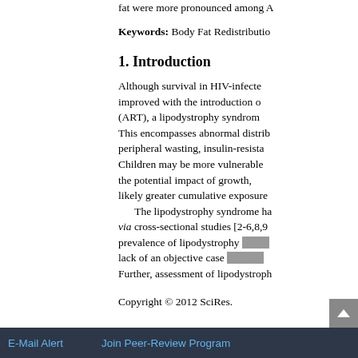fat were more pronounced among A
Keywords: Body Fat Redistributio
1. Introduction
Although survival in HIV-infecte improved with the introduction o (ART), a lipodystrophy syndrom This encompasses abnormal distrib peripheral wasting, insulin-resista Children may be more vulnerable the potential impact of growth, likely greater cumulative exposure
The lipodystrophy syndrome ha via cross-sectional studies [2-6,8,9 prevalence of lipodystrophy has b lack of an objective case definitio Further, assessment of lipodystroph
Copyright © 2012 SciRes.
E-Mail Alert   Join Peer-Review Program